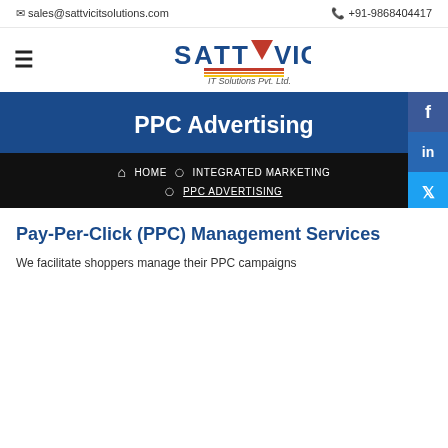✉ sales@sattvicitsolutions.com   📞 +91-9868404417
[Figure (logo): Sattvic IT Solutions Pvt. Ltd. logo with red triangle and blue text]
PPC Advertising
HOME  ○  INTEGRATED MARKETING  ○  PPC ADVERTISING
Pay-Per-Click (PPC) Management Services
We facilitate shoppers manage their PPC campaigns